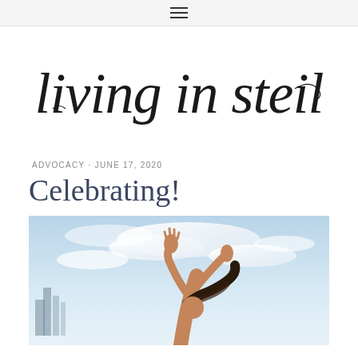≡
[Figure (logo): Living in Steil blog logo in cursive/script handwritten font]
ADVOCACY · JUNE 17, 2020
Celebrating!
[Figure (photo): Person with arms raised against a blue sky with city buildings in background, celebrating]